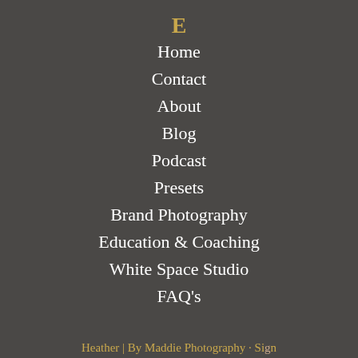E
Home
Contact
About
Blog
Podcast
Presets
Brand Photography
Education & Coaching
White Space Studio
FAQ's
Heather | By Maddie Photography · Sign